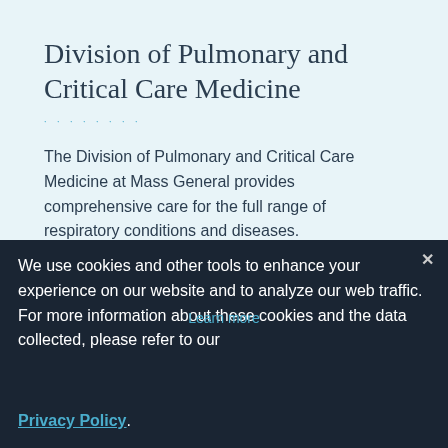Division of Pulmonary and Critical Care Medicine
The Division of Pulmonary and Critical Care Medicine at Mass General provides comprehensive care for the full range of respiratory conditions and diseases.
We use cookies and other tools to enhance your experience on our website and to analyze our web traffic. For more information about these cookies and the data collected, please refer to our Privacy Policy.